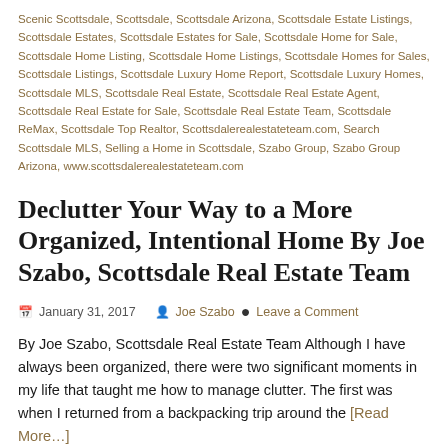Scenic Scottsdale, Scottsdale, Scottsdale Arizona, Scottsdale Estate Listings, Scottsdale Estates, Scottsdale Estates for Sale, Scottsdale Home for Sale, Scottsdale Home Listing, Scottsdale Home Listings, Scottsdale Homes for Sales, Scottsdale Listings, Scottsdale Luxury Home Report, Scottsdale Luxury Homes, Scottsdale MLS, Scottsdale Real Estate, Scottsdale Real Estate Agent, Scottsdale Real Estate for Sale, Scottsdale Real Estate Team, Scottsdale ReMax, Scottsdale Top Realtor, Scottsdalerealestateteam.com, Search Scottsdale MLS, Selling a Home in Scottsdale, Szabo Group, Szabo Group Arizona, www.scottsdalerealestateteam.com
Declutter Your Way to a More Organized, Intentional Home By Joe Szabo, Scottsdale Real Estate Team
January 31, 2017  Joe Szabo  Leave a Comment
By Joe Szabo, Scottsdale Real Estate Team Although I have always been organized, there were two significant moments in my life that taught me how to manage clutter. The first was when I returned from a backpacking trip around the [Read More...]